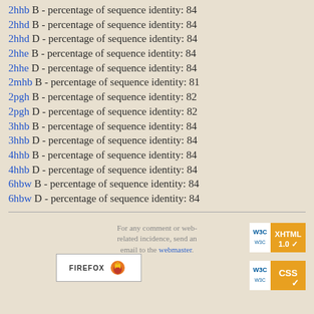2hhb B - percentage of sequence identity: 84
2hhd B - percentage of sequence identity: 84
2hhd D - percentage of sequence identity: 84
2hhe B - percentage of sequence identity: 84
2hhe D - percentage of sequence identity: 84
2mhb B - percentage of sequence identity: 81
2pgh B - percentage of sequence identity: 82
2pgh D - percentage of sequence identity: 82
3hhb B - percentage of sequence identity: 84
3hhb D - percentage of sequence identity: 84
4hhb B - percentage of sequence identity: 84
4hhb D - percentage of sequence identity: 84
6hbw B - percentage of sequence identity: 84
6hbw D - percentage of sequence identity: 84
For any comment or web-related incidence, send an email to the webmaster.
[Figure (logo): Firefox browser badge with flame logo]
[Figure (logo): W3C XHTML 1.0 validation badge]
[Figure (logo): W3C CSS validation badge]